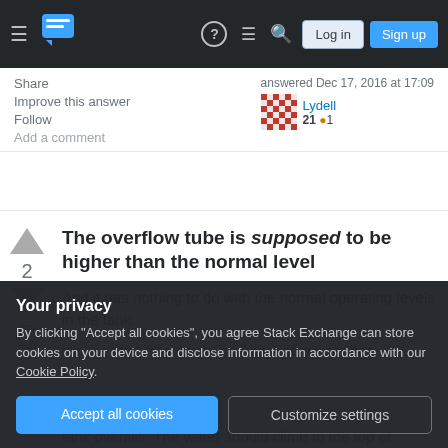Stack Exchange navigation bar with hamburger menu, logo, help, chat, search icons, Log in and Sign up buttons
Share
Improve this answer
Follow
Add a comment
answered Dec 17, 2016 at 17:09
Lydell
21  1
The overflow tube is supposed to be higher than the normal level
And it has nothing to do with the normal operating levels in the tank.
It's like the "emergency spillway" on an earthen
Your privacy
By clicking "Accept all cookies", you agree Stack Exchange can store cookies on your device and disclose information in accordance with our Cookie Policy.
Accept all cookies
Customize settings
tank overfills. The water should climb to the top of